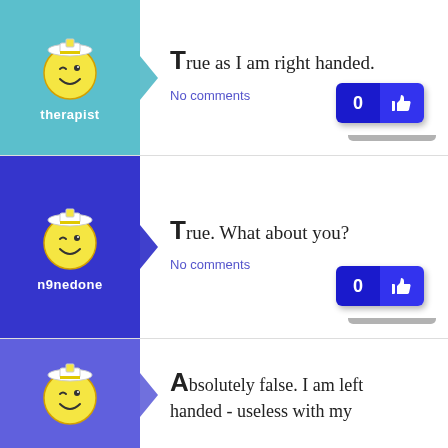[Figure (illustration): Avatar of therapist user - smiley winking face with nurse/doctor hat on teal background with arrow pointing right]
True as I am right handed.
No comments
[Figure (illustration): Like button with 0 count and thumbs up icon, blue buttons]
[Figure (illustration): Avatar of n9nedone user - smiley winking face with nurse/doctor hat on blue background with arrow pointing right]
True. What about you?
No comments
[Figure (illustration): Like button with 0 count and thumbs up icon, blue buttons]
[Figure (illustration): Avatar of third user - smiley winking face with nurse/doctor hat on blue-purple background with arrow pointing right]
Absolutely false. I am left handed - useless with my